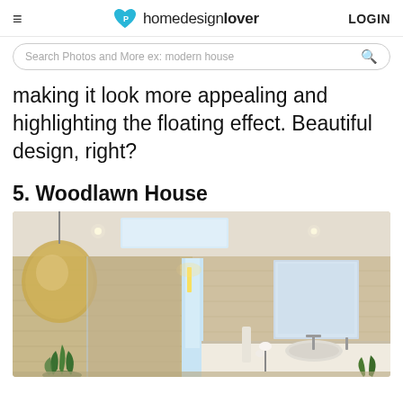homedesignlover LOGIN
Search Photos and More ex: modern house
making it look more appealing and highlighting the floating effect. Beautiful design, right?
5. Woodlawn House
[Figure (photo): Interior photo of a modern luxury bathroom with warm wood-toned tile walls, a large skylight, pendant wicker lamp on the left, glass-enclosed shower, large mirror on the right, double vanity countertop with faucets, orchid and plants, and wall sconce lighting.]